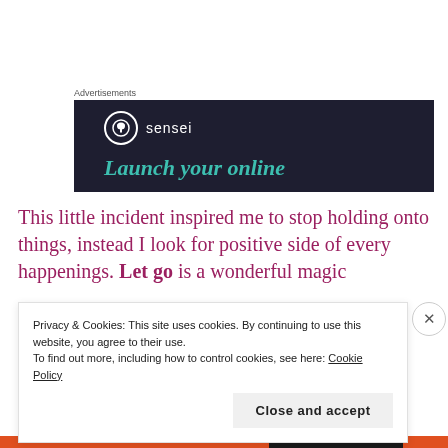Advertisements
[Figure (illustration): Dark navy advertisement banner for 'sensei' brand with tree icon in circle, white text 'sensei', and teal italic text 'Launch your online']
This little incident inspired me to stop holding onto things, instead I look for positive side of every happenings. Let go is a wonderful magic
Privacy & Cookies: This site uses cookies. By continuing to use this website, you agree to their use.
To find out more, including how to control cookies, see here: Cookie Policy
Close and accept